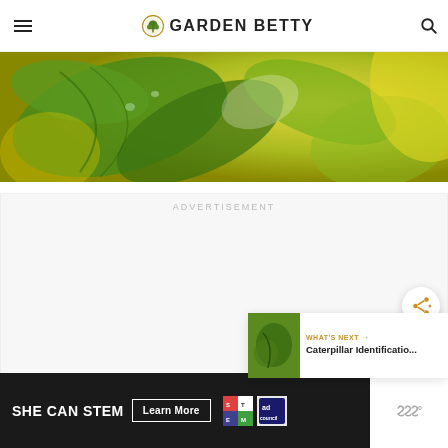Garden Betty
[Figure (photo): Close-up photo of green and yellow plant leaves with blurred bokeh background]
ADVERTISEMENT
[Figure (other): Share button (circular, white with share icon)]
WHAT'S NEXT → Caterpillar Identificatio...
[Figure (other): SHE CAN STEM - Learn More banner advertisement with STEM and Ad Council logos]